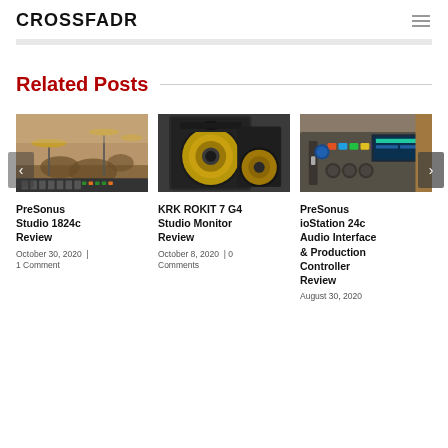CROSSFADR
Related Posts
[Figure (photo): Drum kit and music studio equipment in background]
PreSonus Studio 1824c Review
October 30, 2020  |  1 Comment
[Figure (photo): KRK studio monitor speaker with yellow cone]
KRK ROKIT 7 G4 Studio Monitor Review
October 8, 2020  |  0 Comments
[Figure (photo): PreSonus ioStation 24c audio interface and production controller]
PreSonus ioStation 24c Audio Interface & Production Controller Review
August 30, 2020